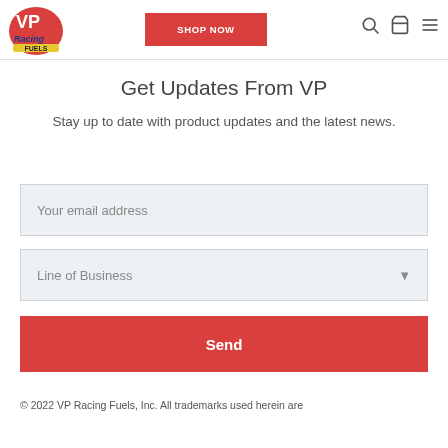VP Racing Fuels — SHOP NOW navigation header
Get Updates From VP
Stay up to date with product updates and the latest news.
Your email address
Line of Business
Send
© 2022 VP Racing Fuels, Inc. All trademarks used herein are